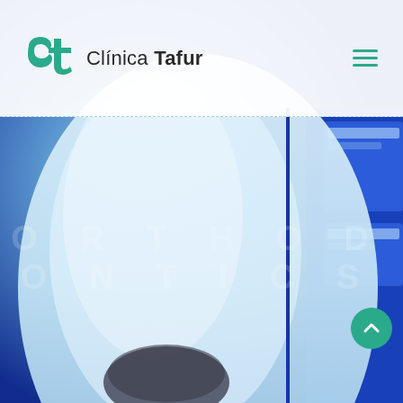[Figure (photo): Medical/orthodontic equipment with blue LED lighting, close-up of dental scanning device in a clinical setting with blue ambient light, person visible at bottom]
Clínica Tafur
ORTHODONTICS (partially obscured watermark text across lower mid section)